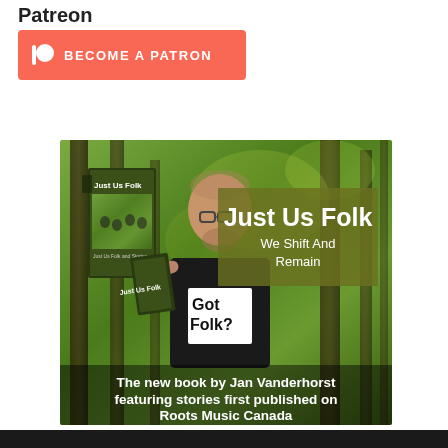Patreon
[Figure (logo): Become a Patron button with Patreon icon on coral/red background]
[Figure (photo): A man holding a book titled 'Just Us Folk' in front of trees. Olive green overlay box shows 'Just Us Folk / We Shift And Remain'. His shirt reads 'Got Folk?'. Bottom caption: 'The new book by Jan Vanderhorst featuring stories first published on Roots Music Canada']